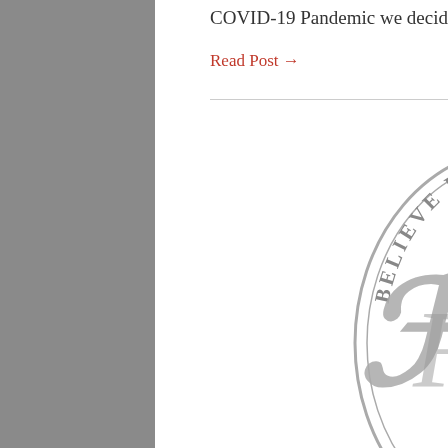COVID-19 Pandemic we decided to record a series of episodes on the Means...
Read Post →
[Figure (logo): Circular medallion logo with ornate script letters FWS in the center, surrounded by text reading BELIEVE LOVE OBEY along the border. Rendered in gray.]
FWS Podcast: Biblical Application
October 10, 2019, posted by Remonstrance
If you cannot see the player above follow this